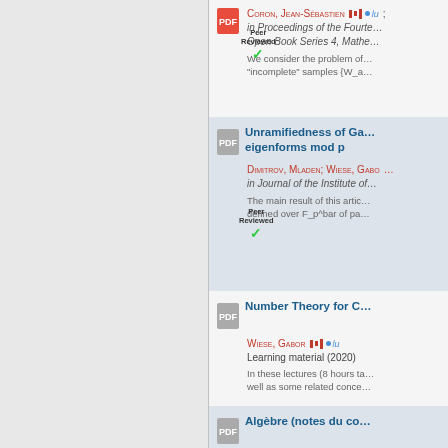Coron, Jean-Sébastien
in Proceedings of the Fourteenth Algorithmic Number Theory Symposium, Open Book Series 4, Mathematical Sciences Publishers, 2020
We consider the problem of... "incomplete" samples {W_a...
Unramifiedness of Galois representations attached to weight one eigenforms mod p
Dimitrov, Mladen; Wiese, Gabor
in Journal of the Institute of...
The main result of this article... defined over F_p^bar of pa...
Number Theory for C...
Wiese, Gabor
Learning material (2020)
In these lectures (8 hours ta... well as some related conce...
Algèbre (notes du co...
Wiese, Gabor
Learning material (2020)